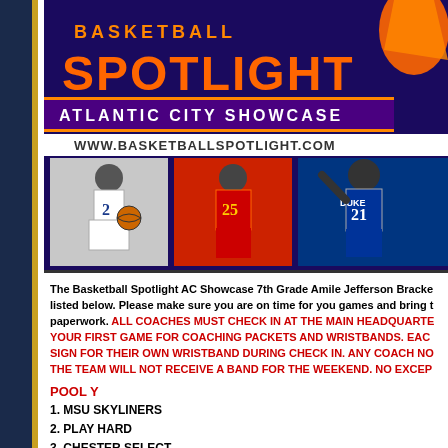[Figure (illustration): Basketball Spotlight Atlantic City Showcase banner with logo, website URL, and three basketball player photos]
The Basketball Spotlight AC Showcase 7th Grade Amile Jefferson Bracket listed below. Please make sure you are on time for you games and bring the paperwork. ALL COACHES MUST CHECK IN AT THE MAIN HEADQUARTERS BEFORE YOUR FIRST GAME FOR COACHING PACKETS AND WRISTBANDS. EACH COACH MUST SIGN FOR THEIR OWN WRISTBAND DURING CHECK IN. ANY COACH NOT PRESENT THE TEAM WILL NOT RECEIVE A BAND FOR THE WEEKEND. NO EXCEPTIONS.
POOL Y
1. MSU SKYLINERS
2. PLAY HARD
3. CHESTER SELECT